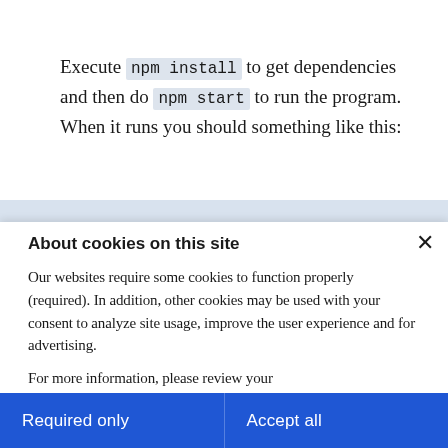Execute npm install to get dependencies and then do npm start to run the program. When it runs you should something like this:
About cookies on this site
Our websites require some cookies to function properly (required). In addition, other cookies may be used with your consent to analyze site usage, improve the user experience and for advertising.

For more information, please review your Cookie preferences options and IBM's privacy
Required only
Accept all